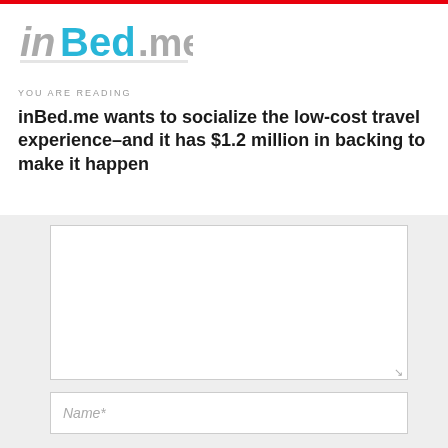[Figure (logo): inBed.me logo with 'in' in gray, 'Bed' in cyan/blue bold, '.me' in gray bold]
YOU ARE READING
inBed.me wants to socialize the low-cost travel experience–and it has $1.2 million in backing to make it happen
[Figure (screenshot): Comment form with large textarea, Name* field, and Email* field on gray background]